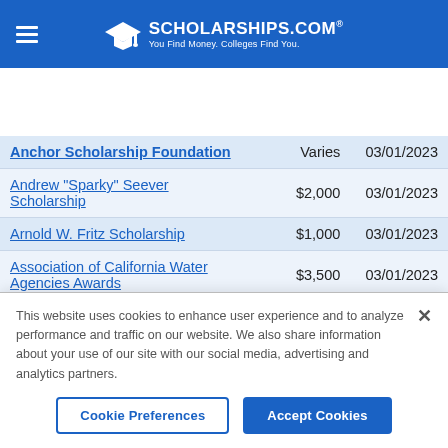SCHOLARSHIPS.COM® — You Find Money. Colleges Find You.
| Scholarship Name | Amount | Deadline |
| --- | --- | --- |
| Anchor Scholarship Foundation | Varies | 03/01/2023 |
| Andrew "Sparky" Seever Scholarship | $2,000 | 03/01/2023 |
| Arnold W. Fritz Scholarship | $1,000 | 03/01/2023 |
| Association of California Water Agencies Awards | $3,500 | 03/01/2023 |
| AWS Airgas Jerry Baker Scholarship | $2,500 | 03/01/2023 |
This website uses cookies to enhance user experience and to analyze performance and traffic on our website. We also share information about your use of our site with our social media, advertising and analytics partners.
Cookie Preferences | Accept Cookies